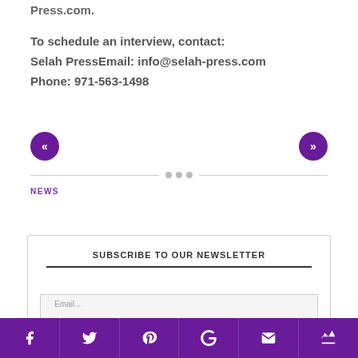Press.com.
To schedule an interview, contact:
Selah PressEmail: info@selah-press.com
Phone: 971-563-1498
NEWS
SUBSCRIBE TO OUR NEWSLETTER
Facebook Twitter Pinterest Google+ Email Crown